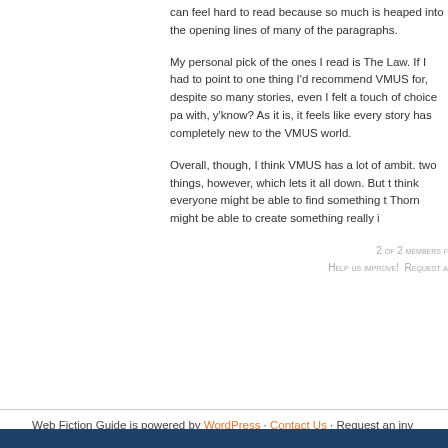can feel hard to read because so much is heaped into the opening lines of many of the paragraphs.
My personal pick of the ones I read is The Law. If I had to point to one thing I'd recommend VMUS for, despite so many stories, even I felt a touch of choice paralysis with, y'know? As it is, it feels like every story has something completely new to the VMUS world.
Overall, though, I think VMUS has a lot of ambition behind it. There are two things, however, which lets it all down. But the variety is high and I think everyone might be able to find something to love. Hopefully Rose Thorn might be able to create something really interesting.
2 OF 2 MEMBERS F
HELP US IMPROVE!  REQUEST A
Web Fiction Guide is powered by WordPress · Contact Us · Request an inv